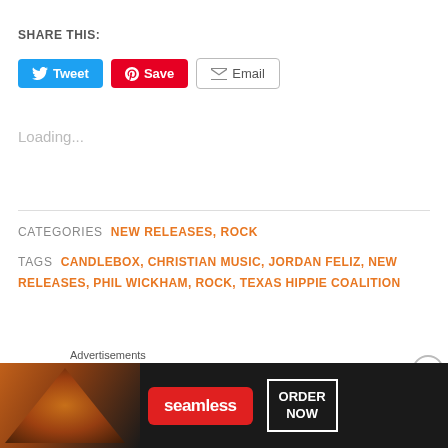SHARE THIS:
[Figure (screenshot): Social sharing buttons: Tweet (blue), Save (red Pinterest), Email (grey outlined)]
Loading...
CATEGORIES  NEW RELEASES, ROCK
TAGS  CANDLEBOX, CHRISTIAN MUSIC, JORDAN FELIZ, NEW RELEASES, PHIL WICKHAM, ROCK, TEXAS HIPPIE COALITION
[Figure (screenshot): Seamless food delivery advertisement showing pizza image on left, Seamless logo in red, and ORDER NOW button on right]
Advertisements